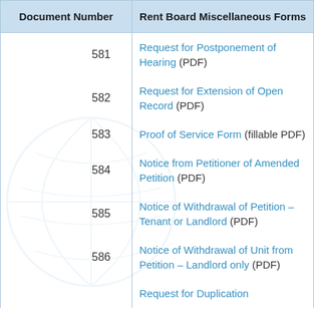| Document Number | Rent Board Miscellaneous Forms |
| --- | --- |
| 581 | Request for Postponement of Hearing (PDF) |
| 582 | Request for Extension of Open Record (PDF) |
| 583 | Proof of Service Form (fillable PDF) |
| 584 | Notice from Petitioner of Amended Petition (PDF) |
| 585 | Notice of Withdrawal of Petition – Tenant or Landlord (PDF) |
| 586 | Notice of Withdrawal of Unit from Petition – Landlord only (PDF) |
| 587 | Request for Duplication |